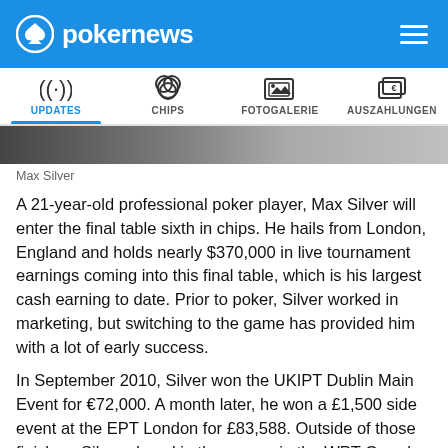pokernews
[Figure (screenshot): Navigation bar with tabs: UPDATES (active), CHIPS, FOTOGALERIE, AUSZAHLUNGEN]
[Figure (photo): Partial image strip showing a dark blurred background]
Max Silver
A 21-year-old professional poker player, Max Silver will enter the final table sixth in chips. He hails from London, England and holds nearly $370,000 in live tournament earnings coming into this final table, which is his largest cash earning to date. Prior to poker, Silver worked in marketing, but switching to the game has provided him with a lot of early success.
In September 2010, Silver won the UKIPT Dublin Main Event for €72,000. A month later, he won a £1,500 side event at the EPT London for £83,588. Outside of those finishes, Silver placed in the money in the WPT Grand Prix de Pairs and then went on to final table the same UKIPT Dublin Main Event in